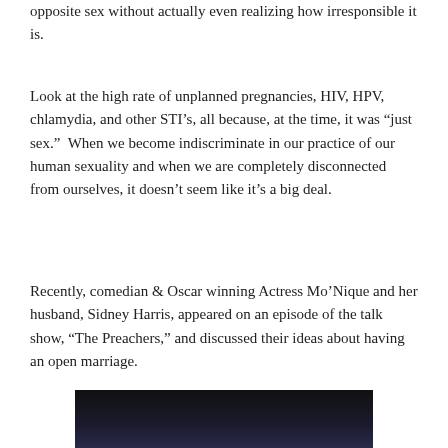opposite sex without actually even realizing how irresponsible it is.
Look at the high rate of unplanned pregnancies, HIV, HPV, chlamydia, and other STI’s, all because, at the time, it was “just sex.”  When we become indiscriminate in our practice of our human sexuality and when we are completely disconnected from ourselves, it doesn’t seem like it’s a big deal.
Recently, comedian & Oscar winning Actress Mo’Nique and her husband, Sidney Harris, appeared on an episode of the talk show, “The Preachers,” and discussed their ideas about having an open marriage.
[Figure (photo): Dark/black image at the bottom of the page, appears to be a screenshot or photo, bottom portion cut off.]